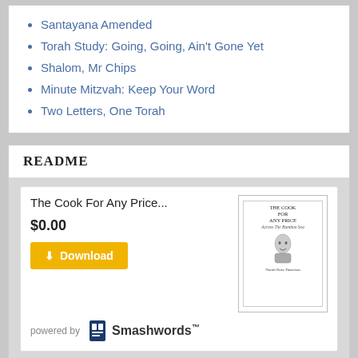Santayana Amended
Torah Study: Going, Going, Ain't Gone Yet
Shalom, Mr Chips
Minute Mitzvah: Keep Your Word
Two Letters, One Torah
README
[Figure (other): Book card for 'The Cook For Any Price...' showing price $0.00, a Download button, book cover image, and Smashwords powered by logo]
[Figure (other): Second book card for 'The Cook For Any Price...' showing book cover image, partial view]